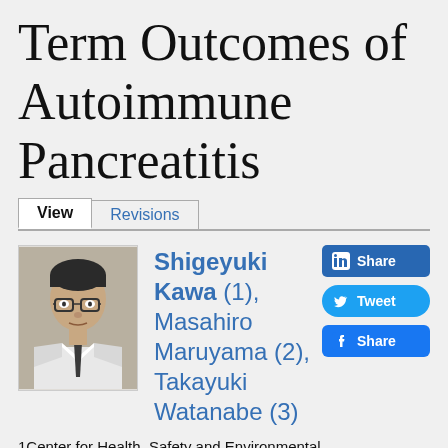Term Outcomes of Autoimmune Pancreatitis
View | Revisions
[Figure (photo): Portrait photo of Shigeyuki Kawa, a man wearing glasses and a white coat with a dark tie, against a neutral background.]
Shigeyuki Kawa (1), Masahiro Maruyama (2), Takayuki Watanabe (3)
1Center for Health, Safety and Environmental